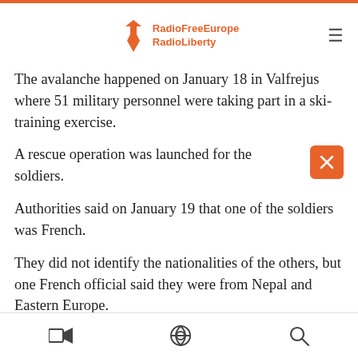RadioFreeEurope RadioLiberty
The avalanche happened on January 18 in Valfrejus where 51 military personnel were taking part in a ski-training exercise.
A rescue operation was launched for the soldiers.
Authorities said on January 19 that one of the soldiers was French.
They did not identify the nationalities of the others, but one French official said they were from Nepal and Eastern Europe.
The French Foreign Legion is a military service